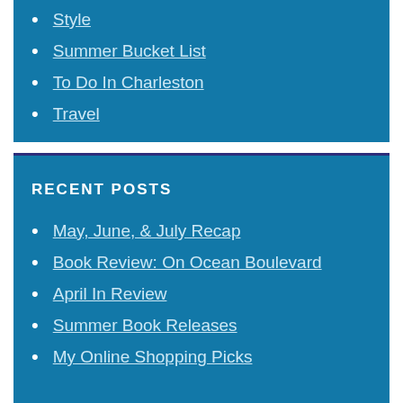Style
Summer Bucket List
To Do In Charleston
Travel
RECENT POSTS
May, June, & July Recap
Book Review: On Ocean Boulevard
April In Review
Summer Book Releases
My Online Shopping Picks